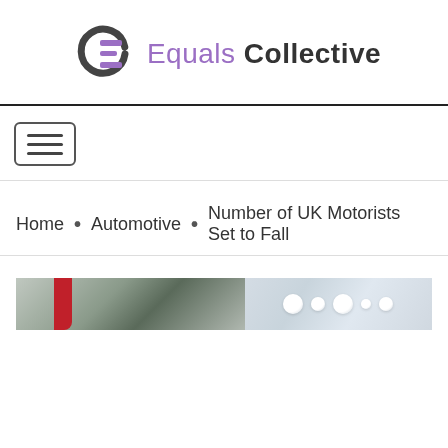Equals Collective
[Figure (logo): Equals Collective logo with stylized CE monogram in dark grey and purple, with 'Equals' in purple and 'Collective' in dark grey]
[Figure (other): Navigation hamburger menu button (three horizontal lines in a rounded rectangle)]
Home • Automotive • Number of UK Motorists Set to Fall
[Figure (photo): Partial image of a car (red trim visible on left) and decorative winter/Christmas ornament balls on right, with grey/silver background]